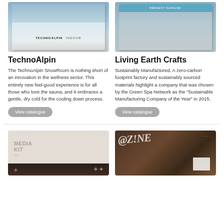[Figure (photo): TechnoAlpin Indoor product brochure cover with snowy/icy texture and TECHNOALPIN INDOOR label]
[Figure (photo): Product catalog cover with blue/gray gradient and PRODUCT CATALOG text at top]
TechnoAlpin
Living Earth Crafts
The TechnoAlpin SnowRoom is nothing short of an innovation in the wellness sector. This entirely new feel-good experience is for all those who love the sauna, and it embraces a gentle, dry cold for the cooling down process.
Sustainably Manufactured. A zero-carbon footprint factory and sustainably sourced materials highlight a company that was chosen by the Green Spa Network as the “Sustainable Manufacturing Company of the Year” in 2015.
View catalogue
View catalogue
[Figure (photo): Media Kit cover with light beige top half showing MEDIA KIT text and dark bottom half with flowers]
[Figure (photo): Magazine cover with wooden texture background and large italic AZINE text, white card element]